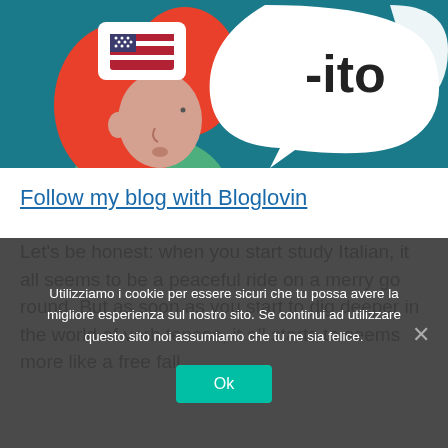[Figure (illustration): Illustrated scene showing a person with red hair and a speech bubble containing the text '-ito' and a partial bubble with a flag emoji (US flag), set against a teal/dark blue background]
Follow my blog with Bloglovin
Let's be honest: when you start study Italian, it all seems to be a peaceful ride on a merry go round. But as soon as you start to dig deeper in the world of verb tenses, it all starts to seems more like a free fall of... the past participle in Italian it will just be easy as a pie.
Utilizziamo i cookie per essere sicuri che tu possa avere la migliore esperienza sul nostro sito. Se continui ad utilizzare questo sito noi assumiamo che tu ne sia felice.
Ok